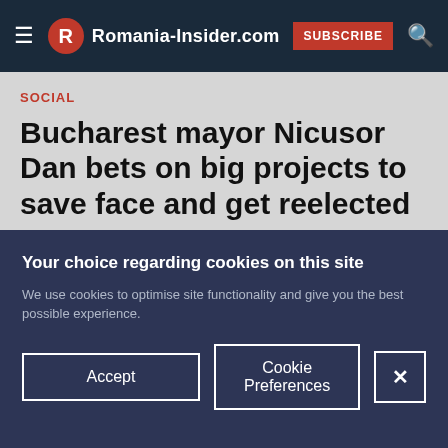Romania-Insider.com | SUBSCRIBE
SOCIAL
Bucharest mayor Nicusor Dan bets on big projects to save face and get reelected
[Figure (photo): Partial photo of a person viewed from behind, standing on steps with ornate stone railings]
Your choice regarding cookies on this site
We use cookies to optimise site functionality and give you the best possible experience.
Accept | Cookie Preferences | X